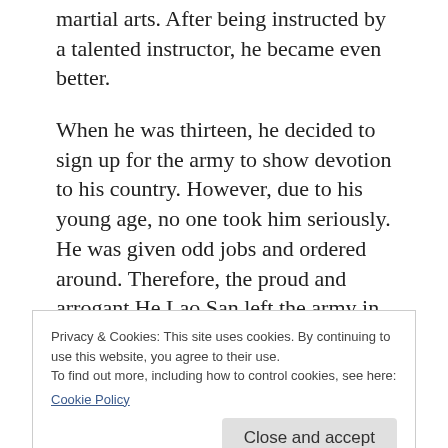martial arts. After being instructed by a talented instructor, he became even better.
When he was thirteen, he decided to sign up for the army to show devotion to his country. However, due to his young age, no one took him seriously. He was given odd jobs and ordered around. Therefore, the proud and arrogant He Lao San left the army in a fury and became a mountain thief. Next thing you [know, it had become a...]
Privacy & Cookies: This site uses cookies. By continuing to use this website, you agree to their use.
To find out more, including how to control cookies, see here: Cookie Policy
[Close and accept button]
Capital near the Black Dragon Mountain,